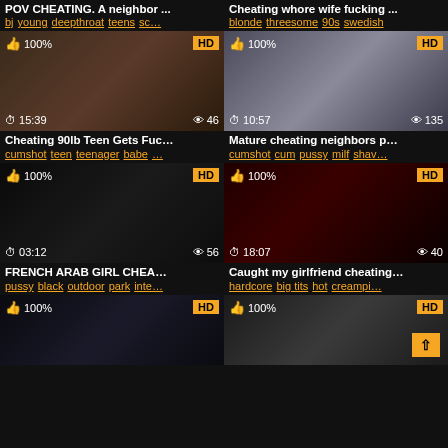POV CHEATING. A neighbor ...
bj young deepthroat teens sc...
[Figure (screenshot): Video thumbnail dark intimate scene, 15:39 duration, 46 views, 100% rating, HD]
Cheating 90lb Teen Gets Fuc...
cumshot teen teenager babe ...
Cheating whore wife fucking ...
blonde threesome 90s swedish
[Figure (screenshot): Video thumbnail bedroom scene, 10:57 duration, 135 views, 100% rating, HD]
Mature cheating neighbors p...
cumshot cum pussy milf shav...
[Figure (screenshot): Video thumbnail dark outdoor scene, 03:12 duration, 56 views, 100% rating, HD]
FRENCH ARAB GIRL CHEA...
pussy black outdoor park inte...
[Figure (screenshot): Video thumbnail dark fire scene, 18:07 duration, 40 views, 100% rating, HD]
Caught my girlfriend cheating...
hardcore big tits hot creampi...
[Figure (screenshot): Video thumbnail dark office scene, 100% rating, HD]
[Figure (screenshot): Video thumbnail blonde woman scene, 100% rating, HD]